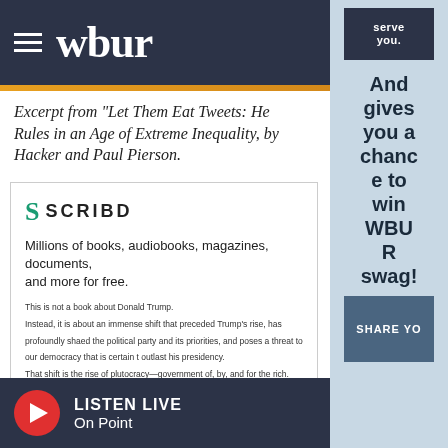wbur
Excerpt from "Let Them Eat Tweets: He Rules in an Age of Extreme Inequality, by Hacker and Paul Pierson.
[Figure (screenshot): Scribd embedded document viewer showing book excerpt. Header shows Scribd logo and tagline 'Millions of books, audiobooks, magazines, documents, and more for free.' Below is text from the book beginning 'This is not a book about Donald Trump...']
And gives you a chance to win WBUR swag!
LISTEN LIVE On Point